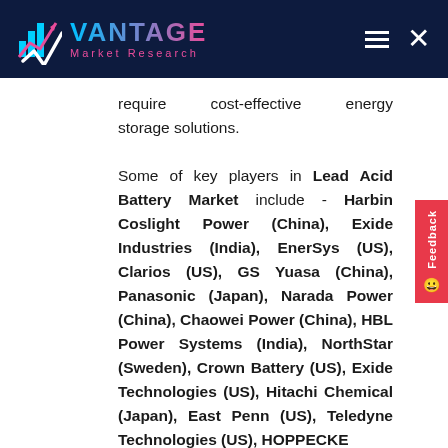VANTAGE Market Research
require cost-effective energy storage solutions.

Some of key players in Lead Acid Battery Market include - Harbin Coslight Power (China), Exide Industries (India), EnerSys (US), Clarios (US), GS Yuasa (China), Panasonic (Japan), Narada Power (China), Chaowei Power (China), HBL Power Systems (India), NorthStar (Sweden), Crown Battery (US), Exide Technologies (US), Hitachi Chemical (Japan), East Penn (US), Teledyne Technologies (US), HOPPECKE